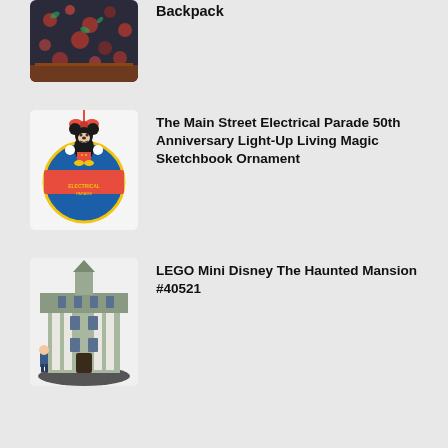[Figure (photo): Partial view of a dark floral pattern backpack with brown leather bottom trim, partially cropped at top of page]
Backpack
[Figure (photo): The Main Street Electrical Parade 50th Anniversary Light-Up Living Magic Sketchbook Ornament showing Mickey Mouse on top of a blue circular ornament with red text]
The Main Street Electrical Parade 50th Anniversary Light-Up Living Magic Sketchbook Ornament
[Figure (photo): LEGO Mini Disney The Haunted Mansion #40521 set showing a detailed miniature green and white mansion building with a minifigure]
LEGO Mini Disney The Haunted Mansion #40521